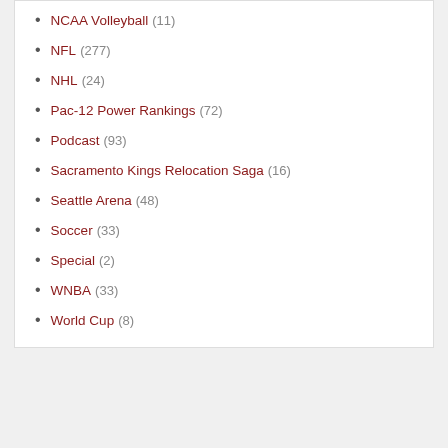NCAA Volleyball (11)
NFL (277)
NHL (24)
Pac-12 Power Rankings (72)
Podcast (93)
Sacramento Kings Relocation Saga (16)
Seattle Arena (48)
Soccer (33)
Special (2)
WNBA (33)
World Cup (8)
Advertisements